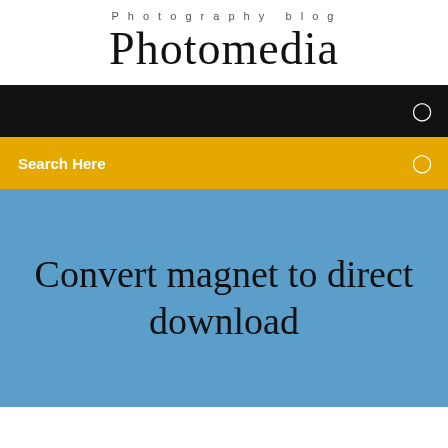Photography blog
Photomedia
☰
Search Here
Convert magnet to direct download